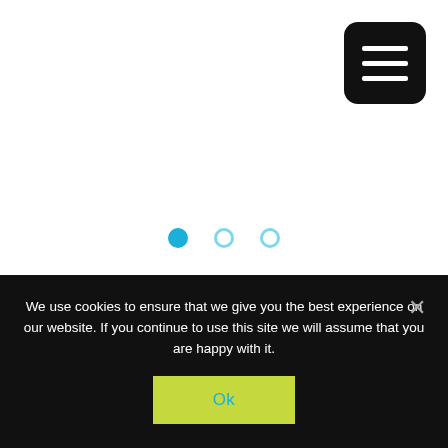[Figure (other): Hamburger menu button — black rounded square with three white horizontal lines]
[Figure (other): Carousel pagination dots — three circles, one filled dark blue (active), two outlined light blue]
Shop By Category
Balloons
Balloon Printing
We use cookies to ensure that we give you the best experience on our website. If you continue to use this site we will assume that you are happy with it.
Ok